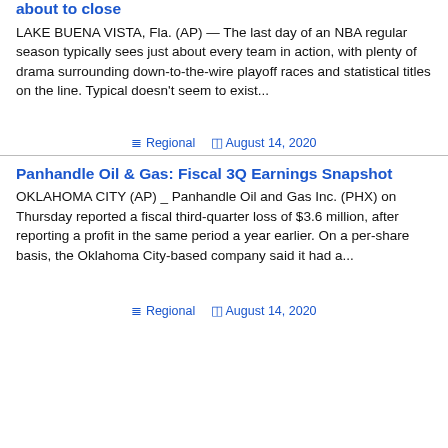about to close
LAKE BUENA VISTA, Fla. (AP) — The last day of an NBA regular season typically sees just about every team in action, with plenty of drama surrounding down-to-the-wire playoff races and statistical titles on the line. Typical doesn't seem to exist...
Regional  August 14, 2020
Panhandle Oil & Gas: Fiscal 3Q Earnings Snapshot
OKLAHOMA CITY (AP) _ Panhandle Oil and Gas Inc. (PHX) on Thursday reported a fiscal third-quarter loss of $3.6 million, after reporting a profit in the same period a year earlier. On a per-share basis, the Oklahoma City-based company said it had a...
Regional  August 14, 2020